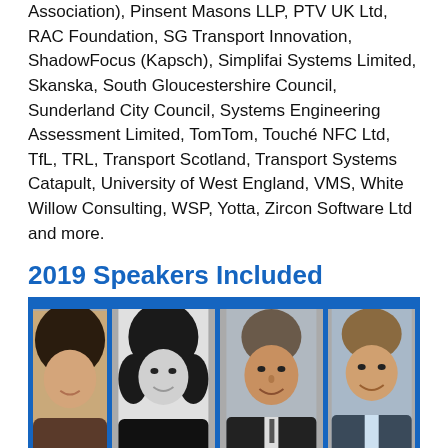Association), Pinsent Masons LLP, PTV UK Ltd, RAC Foundation, SG Transport Innovation, ShadowFocus (Kapsch), Simplifai Systems Limited, Skanska, South Gloucestershire Council, Sunderland City Council, Systems Engineering Assessment Limited, TomTom, Touché NFC Ltd, TfL, TRL, Transport Scotland, Transport Systems Catapult, University of West England, VMS, White Willow Consulting, WSP, Yotta, Zircon Software Ltd and more.
2019 Speakers Included
[Figure (photo): Four speaker headshots in a row: partially visible woman (olley), Catherine Bowen (black and white photo), Colin Brookes, James Bulleid (partially cropped). Blue background with white name labels at bottom of each photo.]